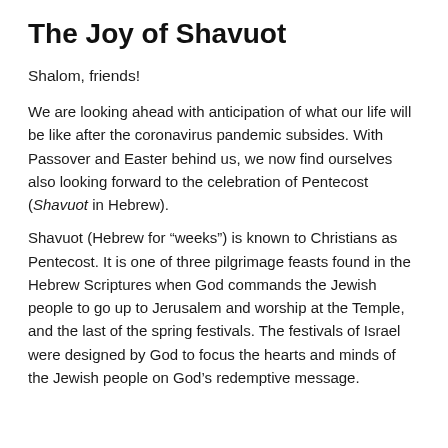The Joy of Shavuot
Shalom, friends!
We are looking ahead with anticipation of what our life will be like after the coronavirus pandemic subsides. With Passover and Easter behind us, we now find ourselves also looking forward to the celebration of Pentecost (Shavuot in Hebrew).
Shavuot (Hebrew for “weeks”) is known to Christians as Pentecost. It is one of three pilgrimage feasts found in the Hebrew Scriptures when God commands the Jewish people to go up to Jerusalem and worship at the Temple, and the last of the spring festivals. The festivals of Israel were designed by God to focus the hearts and minds of the Jewish people on God’s redemptive message.